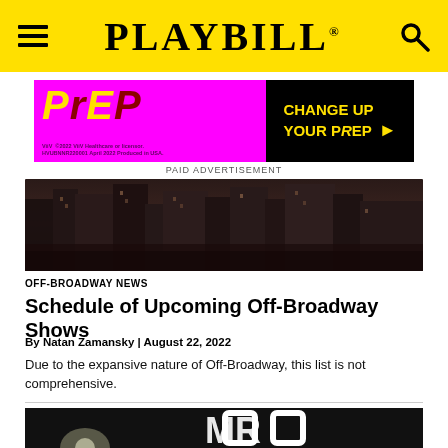PLAYBILL
[Figure (infographic): PrEP advertisement banner with magenta/yellow/black colors. Left side: magenta background with 'PrEP' text in yellow and dark red, ViiV Healthcare legal text. Right side: black background with 'CHANGE UP YOUR PrEP' in yellow with arrow.]
PAID ADVERTISEMENT
[Figure (photo): Aerial/rooftop view of New York City buildings, dark moody urban cityscape.]
OFF-BROADWAY NEWS
Schedule of Upcoming Off-Broadway Shows
By Natan Zamansky | August 22, 2022
Due to the expansive nature of Off-Broadway, this list is not comprehensive.
[Figure (photo): Dark theatrical photo showing a person on stage with a spotlight and large white block letters partially visible, likely show signage.]